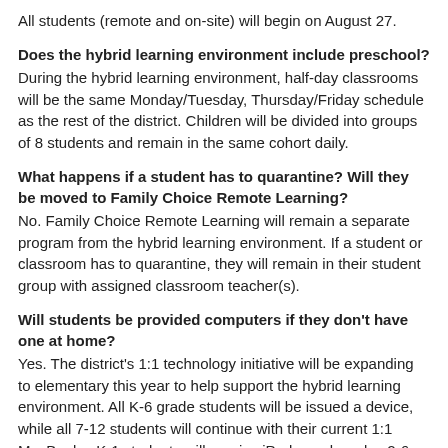All students (remote and on-site) will begin on August 27.
Does the hybrid learning environment include preschool?
During the hybrid learning environment, half-day classrooms will be the same Monday/Tuesday, Thursday/Friday schedule as the rest of the district. Children will be divided into groups of 8 students and remain in the same cohort daily.
What happens if a student has to quarantine? Will they be moved to Family Choice Remote Learning?
No. Family Choice Remote Learning will remain a separate program from the hybrid learning environment. If a student or classroom has to quarantine, they will remain in their student group with assigned classroom teacher(s).
Will students be provided computers if they don’t have one at home?
Yes. The district’s 1:1 technology initiative will be expanding to elementary this year to help support the hybrid learning environment. All K-6 grade students will be issued a device, while all 7-12 students will continue with their current 1:1 MacBooks. K-1 students will receive iPads, and grades 2-6 will